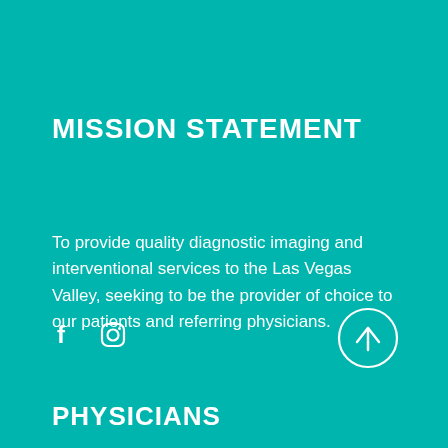MISSION STATEMENT
To provide quality diagnostic imaging and interventional services to the Las Vegas Valley, seeking to be the provider of choice to our patients and referring physicians.
[Figure (infographic): Social media icons: Facebook (f) and Instagram (camera) icons in white on teal background]
[Figure (infographic): Circular arrow pointing upward (back-to-top button) in white outline circle on teal background]
PHYSICIANS